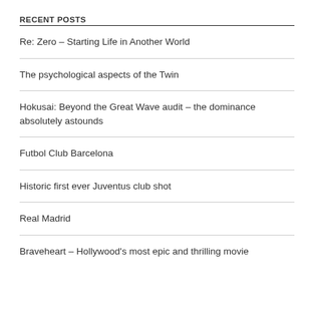RECENT POSTS
Re: Zero – Starting Life in Another World
The psychological aspects of the Twin
Hokusai: Beyond the Great Wave audit – the dominance absolutely astounds
Futbol Club Barcelona
Historic first ever Juventus club shot
Real Madrid
Braveheart – Hollywood's most epic and thrilling movie